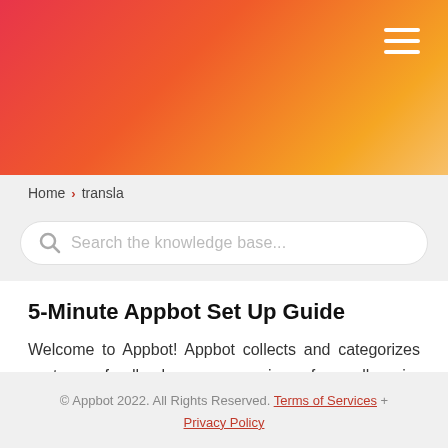[Figure (illustration): Pink to orange gradient header banner with a hamburger menu icon (three white horizontal lines) in the top right corner]
Home > transla
Search the knowledge base...
5-Minute Appbot Set Up Guide
Welcome to Appbot! Appbot collects and categorizes customer feedback on app reviews from all major stores and product reviews from...
© Appbot 2022. All Rights Reserved. Terms of Services + Privacy Policy